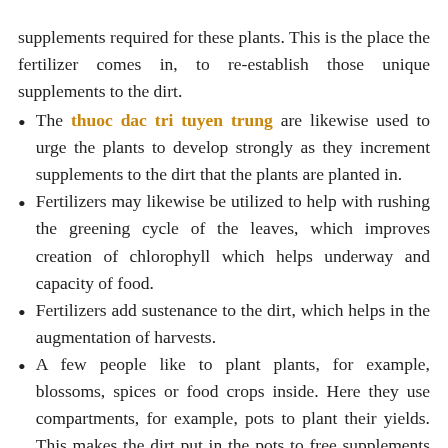supplements required for these plants. This is the place the fertilizer comes in, to re-establish those unique supplements to the dirt.
The thuoc dac tri tuyen trung are likewise used to urge the plants to develop strongly as they increment supplements to the dirt that the plants are planted in.
Fertilizers may likewise be utilized to help with rushing the greening cycle of the leaves, which improves creation of chlorophyll which helps underway and capacity of food.
Fertilizers add sustenance to the dirt, which helps in the augmentation of harvests.
A few people like to plant plants, for example, blossoms, spices or food crops inside. Here they use compartments, for example, pots to plant their yields. This makes the dirt put in the pots to free supplements rapidly. Fertilizers might be utilized to re-establish the supplements lost to upgrade the